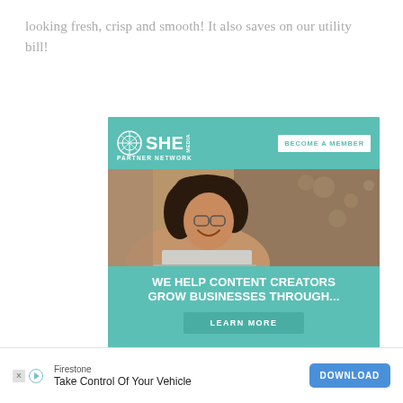looking fresh, crisp and smooth! It also saves on our utility bill!
[Figure (illustration): SHE Media Partner Network advertisement. Teal background with SHE Media logo and 'BECOME A MEMBER' button at top. Photo of smiling woman with glasses and curly hair using a laptop. Text: 'WE HELP CONTENT CREATORS GROW BUSINESSES THROUGH...' with 'LEARN MORE' button.]
Report ad
X
[Figure (illustration): Bottom banner ad for Firestone: 'Take Control Of Your Vehicle' with a DOWNLOAD button in blue. X and play icons on the left.]